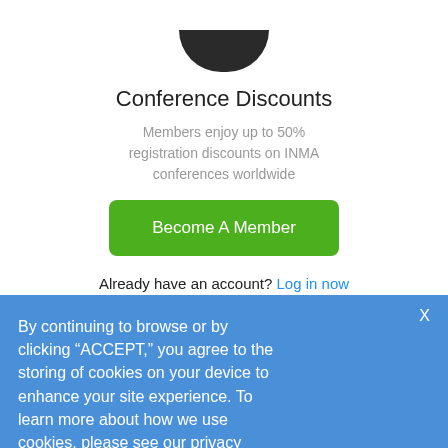[Figure (illustration): Partially visible circular avatar/profile image cropped at top, dark silhouette]
Conference Discounts
Members enjoy up to 50% registration discounts on INMA conferences worldwide
Become A Member
Already have an account? Log in now
By continuing to browse or by clicking “ACCEPT,” you agree to the storing of cookies on your device to enhance your site experience. To learn more about how we use cookies, please see our privacy policy.
I ACCEPT